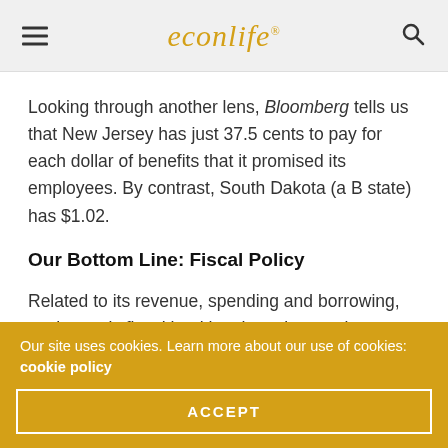econlife
Looking through another lens, Bloomberg tells us that New Jersey has just 37.5 cents to pay for each dollar of benefits that it promised its employees. By contrast, South Dakota (a B state) has $1.02.
Our Bottom Line: Fiscal Policy
Related to its revenue, spending and borrowing, each state's fiscal health echoes its pension obligations. You can see that South Dakota is a healthy shade of green while
Our site uses cookies. Learn more about our use of cookies: cookie policy
ACCEPT